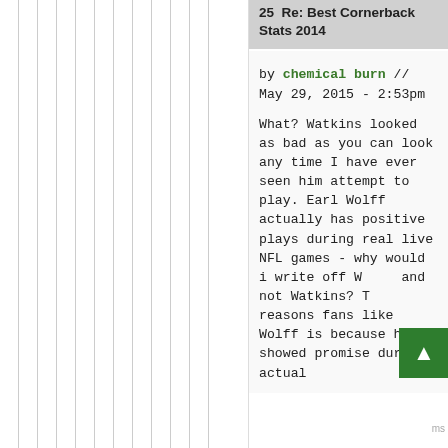25  Re: Best Cornerback Stats 2014
by chemical burn // May 29, 2015 - 2:53pm
What? Watkins looked as bad as you can look any time I have ever seen him attempt to play. Earl Wolff actually has positive plays during real live NFL games - why would i write off Wolff and not Watkins? The reasons fans like Wolff is because he showed promise during actual